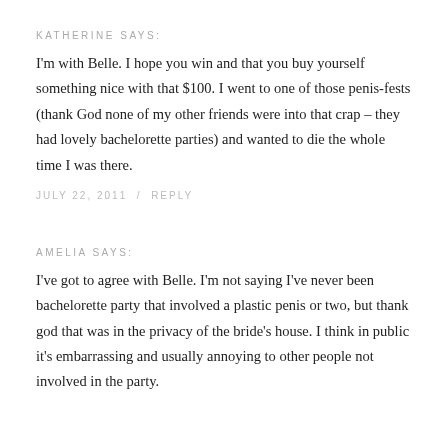KATHERINE SAYS:
I'm with Belle. I hope you win and that you buy yourself something nice with that $100. I went to one of those penis-fests (thank God none of my other friends were into that crap – they had lovely bachelorette parties) and wanted to die the whole time I was there.
JULY 22, 2011  /  REPLY
AMELIA SAYS:
I've got to agree with Belle. I'm not saying I've never been bachelorette party that involved a plastic penis or two, but thank god that was in the privacy of the bride's house. I think in public it's embarrassing and usually annoying to other people not involved in the party.